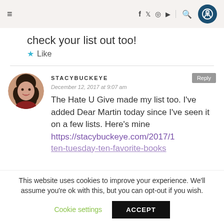Navigation bar with hamburger menu, social icons (f, twitter, instagram, youtube), search, and accessibility button
check your list out too!
★ Like
STACYBUCKEYE
December 12, 2017 at 9:07 am
The Hate U Give made my list too. I've added Dear Martin today since I've seen it on a few lists. Here's mine https://stacybuckeye.com/2017/1
This website uses cookies to improve your experience. We'll assume you're ok with this, but you can opt-out if you wish.
Cookie settings   ACCEPT